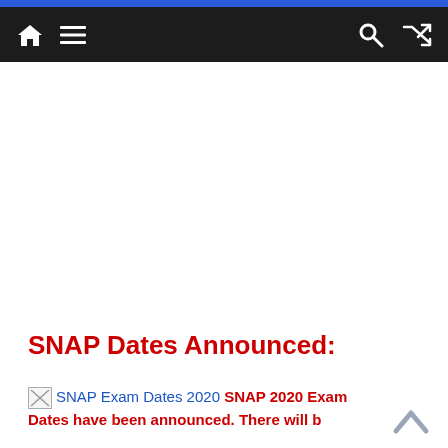Navigation bar with home, menu, search, and shuffle icons
[Figure (other): Advertisement block (blank white space)]
SNAP Dates Announced:
SNAP Exam Dates 2020 SNAP 2020 Exam Dates have been announced. There will b...